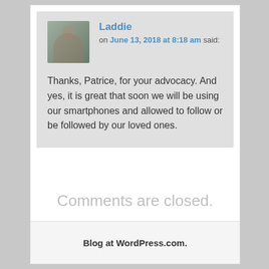Laddie on June 13, 2018 at 8:18 am said: Thanks, Patrice, for your advocacy. And yes, it is great that soon we will be using our smartphones and allowed to follow or be followed by our loved ones.
Comments are closed.
Blog at WordPress.com.